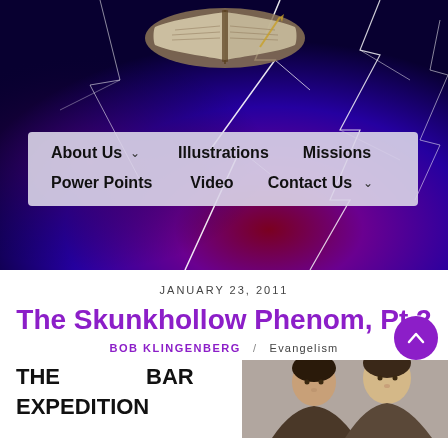[Figure (photo): Website header with dramatic purple and dark blue lightning storm background with an open Bible book at the top center, and a navigation menu bar overlaid on the image.]
About Us | Illustrations | Missions | Power Points | Video | Contact Us
JANUARY 23, 2011
The Skunkhollow Phenom, Pt 2
BOB KLINGENBERG / Evangelism
THE BAR EXPEDITION
[Figure (photo): Two men photographed together, partially visible on the right side of the page.]